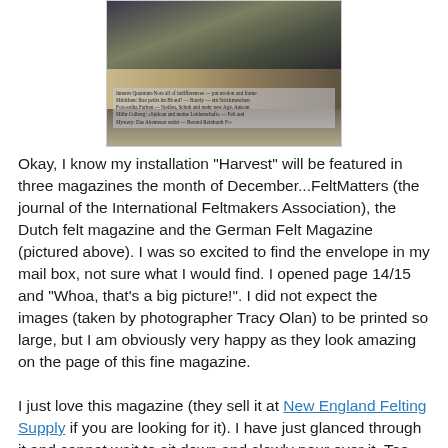[Figure (photo): Photo of a German Felt Magazine page showing knitted/felted items and foliage, with German text visible on the page]
Okay, I know my installation "Harvest" will be featured in three magazines the month of December...FeltMatters (the journal of the International Feltmakers Association), the Dutch felt magazine and the German Felt Magazine (pictured above). I was so excited to find the envelope in my mail box, not sure what I would find. I opened page 14/15 and "Whoa, that's a big picture!". I did not expect the images (taken by photographer Tracy Olan) to be printed so large, but I am obviously very happy as they look amazing on the page of this fine magazine.
I just love this magazine (they sell it at New England Felting Supply if you are looking for it). I have just glanced through it and cannot wait to sit down and slowly pour over it. Too bad I